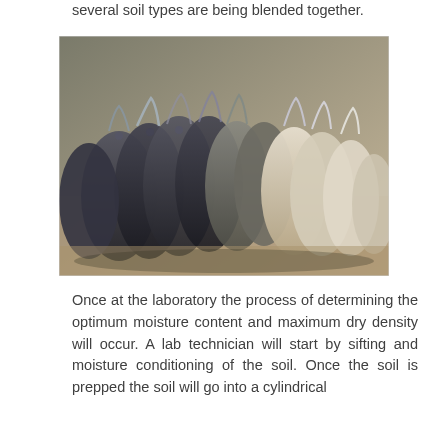several soil types are being blended together.
[Figure (photo): Photograph of multiple soil samples stored in plastic bags, dark and light colored soils, arranged outdoors on a dirt ground.]
Once at the laboratory the process of determining the optimum moisture content and maximum dry density will occur. A lab technician will start by sifting and moisture conditioning of the soil. Once the soil is prepped the soil will go into a cylindrical